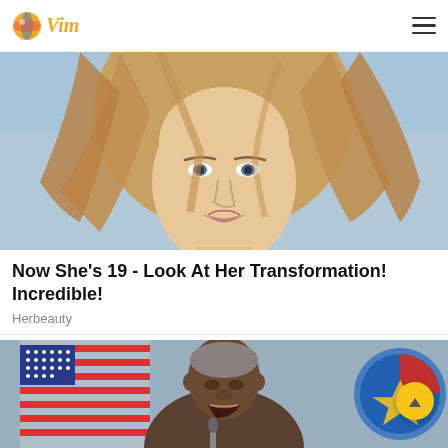Vim (logo)
[Figure (photo): Close-up photo of a young blonde woman with long hair blowing across her face, looking at the camera with a neutral expression. Sky and water visible in background.]
Now She's 19 - Look At Her Transformation! Incredible!
Herbeauty
[Figure (photo): Photo of Barack Obama speaking at a podium, with an American flag and what appears to be the ASEAN logo in the background.]